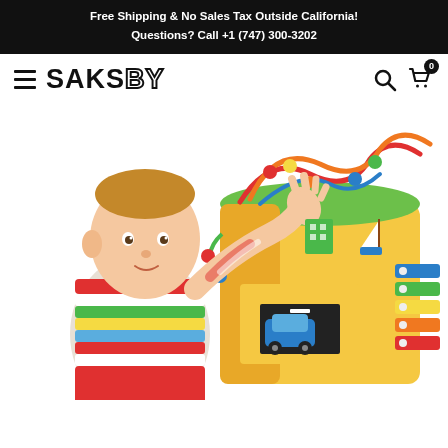Free Shipping & No Sales Tax Outside California!
Questions? Call +1 (747) 300-3202
[Figure (logo): SAKSBY logo with hamburger menu on the left and search/cart icons on the right showing cart count of 0]
[Figure (photo): Baby in colorful striped outfit reaching toward a wooden activity cube toy with bead mazes, xylophone, and bright colors on white background]